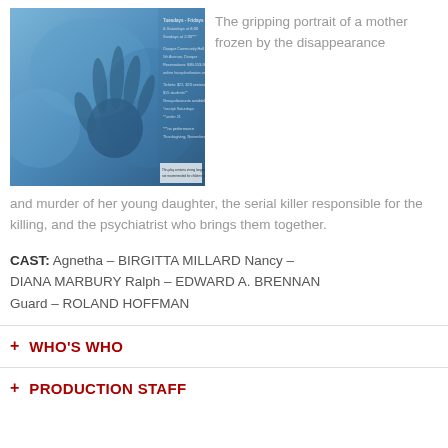[Figure (photo): Theater production poster showing a hand pressed against ice/frozen surface, blue toned image with text overlay listing show times, location, and ticket information for a production at Duoque Community Hall]
The gripping portrait of a mother frozen by the disappearance and murder of her young daughter, the serial killer responsible for the killing, and the psychiatrist who brings them together.
CAST: Agnetha – BIRGITTA MILLARD Nancy – DIANA MARBURY Ralph – EDWARD A. BRENNAN Guard – ROLAND HOFFMAN
WHO'S WHO
PRODUCTION STAFF